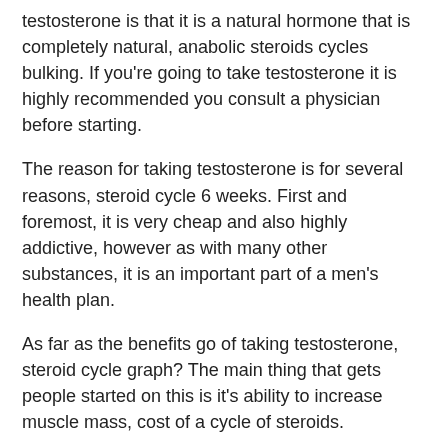testosterone is that it is a natural hormone that is completely natural, anabolic steroids cycles bulking. If you're going to take testosterone it is highly recommended you consult a physician before starting.
The reason for taking testosterone is for several reasons, steroid cycle 6 weeks. First and foremost, it is very cheap and also highly addictive, however as with many other substances, it is an important part of a men's health plan.
As far as the benefits go of taking testosterone, steroid cycle graph? The main thing that gets people started on this is it's ability to increase muscle mass, cost of a cycle of steroids.
Testosterone will allow you to gain muscle in a very short time and it also helps increase